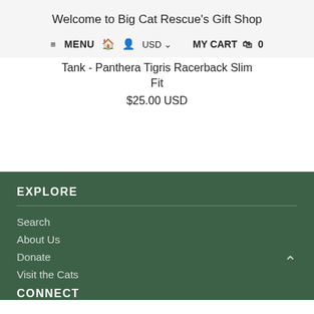Welcome to Big Cat Rescue's Gift Shop
≡ MENU  🏠  👤  USD ∨    MY CART 🛒  0
Tank - Panthera Tigris Racerback Slim Fit
$25.00 USD
EXPLORE
Search
About Us
Donate
Visit the Cats
CONNECT